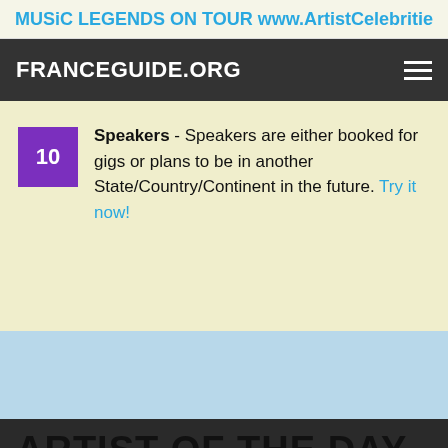MUSiC LEGENDS ON TOUR www.ArtistCelebritie
FRANCEGUIDE.ORG
Speakers - Speakers are either booked for gigs or plans to be in another State/Country/Continent in the future. Try it now!
ARTIST OF THE DAY
This website makes use of cookies to enhance browsing experience and provide additional functionality. Details
Sting, AUGUST 23 - 20